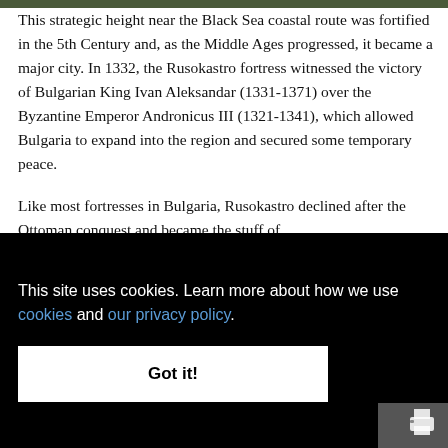[Figure (photo): Partial image strip at the top of the page, showing a dark green/natural scene.]
This strategic height near the Black Sea coastal route was fortified in the 5th Century and, as the Middle Ages progressed, it became a major city. In 1332, the Rusokastro fortress witnessed the victory of Bulgarian King Ivan Aleksandar (1331-1371) over the Byzantine Emperor Andronicus III (1321-1341), which allowed Bulgaria to expand into the region and secured some temporary peace.
Like most fortresses in Bulgaria, Rusokastro declined after the Ottoman conquest and became the stuff of [partially obscured by cookie banner]
This site uses cookies. Learn more about how we use cookies and our privacy policy.
Got it!